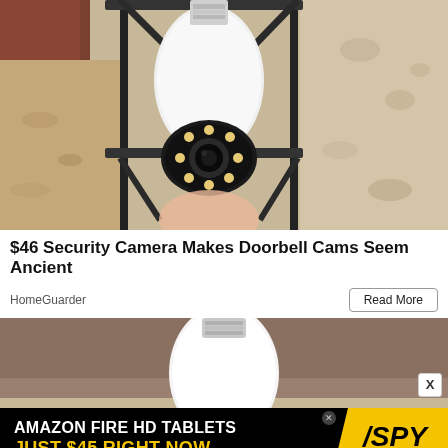[Figure (photo): A security camera shaped like a light bulb mounted in a black cage-style outdoor wall light fixture, against a textured stucco wall]
$46 Security Camera Makes Doorbell Cams Seem Ancient
HomeGuarder
Read More
[Figure (photo): A hand holding a white light-bulb shaped security camera against a brown/tan interior background]
[Figure (advertisement): Ad banner: AMAZON FIRE HD TABLETS JUST $45 RIGHT NOW with SPY logo on yellow background]